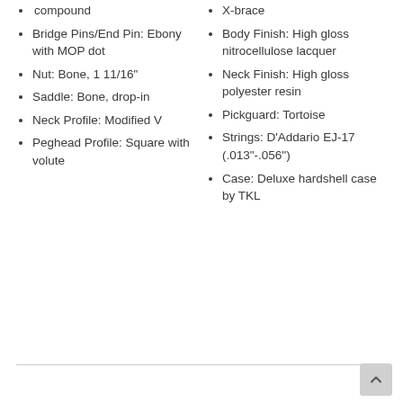compound
Bridge Pins/End Pin: Ebony with MOP dot
Nut: Bone, 1 11/16"
Saddle: Bone, drop-in
Neck Profile: Modified V
Peghead Profile: Square with volute
X-brace
Body Finish: High gloss nitrocellulose lacquer
Neck Finish: High gloss polyester resin
Pickguard: Tortoise
Strings: D'Addario EJ-17 (.013"-.056")
Case: Deluxe hardshell case by TKL